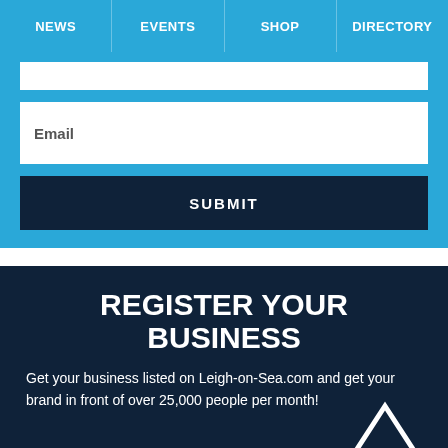NEWS | EVENTS | SHOP | DIRECTORY
[Figure (screenshot): Email input form field with label 'Email' and a Submit button on a blue background]
REGISTER YOUR BUSINESS
Get your business listed on Leigh-on-Sea.com and get your brand in front of over 25,000 people per month!